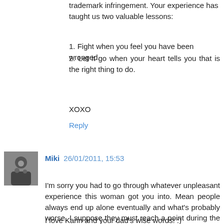trademark infringement. Your experience has taught us two valuable lessons:
1. Fight when you feel you have been wronged.
2. Let it go when your heart tells you that is the right thing to do.
XOXO
Reply
Miki  26/01/2011, 15:53
I'm sorry you had to go through whatever unpleasant experience this woman got you into. Mean people always end up alone eventually and what's probably worse, I suppose they must reach a point during the course of their lives where they realize all the wrong they've done and can't even stand themselves anymore. More than likely this happens when their lives go downhill or when they are about to die.
I love Karin and your dad's wise words! :)